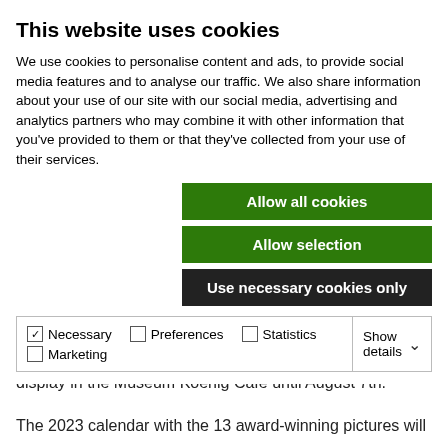This website uses cookies
We use cookies to personalise content and ads, to provide social media features and to analyse our traffic. We also share information about your use of our site with our social media, advertising and analytics partners who may combine it with other information that you've provided to them or that they've collected from your use of their services.
Allow all cookies
Allow selection
Use necessary cookies only
| Necessary | Preferences | Statistics | Show details |
| --- | --- | --- | --- |
| ✓ Necessary | ☐ Preferences | ☐ Statistics | Show details ∨ |
| ☐ Marketing |  |  |  |
receives a voucher for re-supplying the natural history and/or art lessons with new materials.
60 of the more than 2,000 submitted pictures will be on display in the Museum Koenig Café until August 7th.
The 2023 calendar with the 13 award-winning pictures will